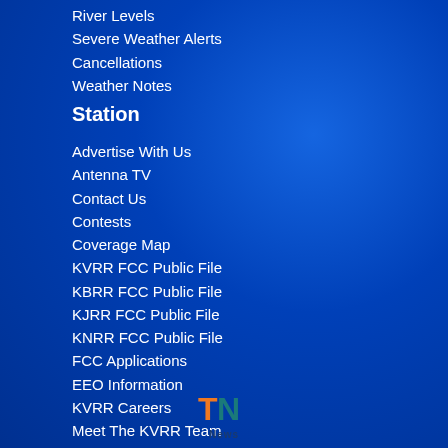River Levels
Severe Weather Alerts
Cancellations
Weather Notes
Station
Advertise With Us
Antenna TV
Contact Us
Contests
Coverage Map
KVRR FCC Public File
KBRR FCC Public File
KJRR FCC Public File
KNRR FCC Public File
FCC Applications
EEO Information
KVRR Careers
Meet The KVRR Team
Privacy Policy
Schedule
Terms of Use
© 2022 KVRR Local News.
[Figure (logo): TN News logo with orange T and teal N letters above the word News]